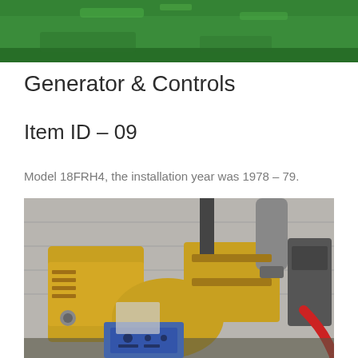[Figure (photo): Top partial photo showing green-painted floor or surface area, appears to be an indoor industrial environment.]
Generator & Controls
Item ID – 09
Model 18FRH4, the installation year was 1978 – 79.
[Figure (photo): Photo of an industrial generator set with yellow engine and generator housing, a blue control box in front, mounted in a concrete block building.]